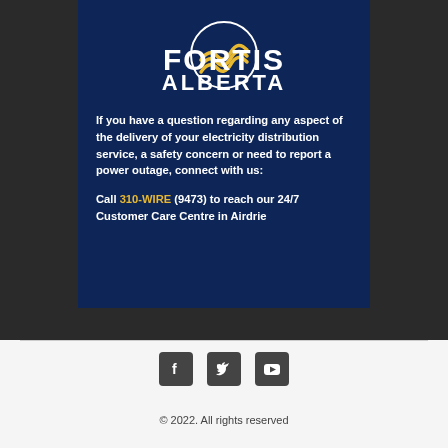[Figure (logo): Fortis Alberta logo — white text on dark blue background with stylized wave/chevron emblem]
If you have a question regarding any aspect of the delivery of your electricity distribution service, a safety concern or need to report a power outage, connect with us:
Call 310-WIRE (9473) to reach our 24/7 Customer Care Centre in Airdrie
[Figure (infographic): Social media icons: Facebook, Twitter, YouTube — dark square rounded icons]
© 2022. All rights reserved